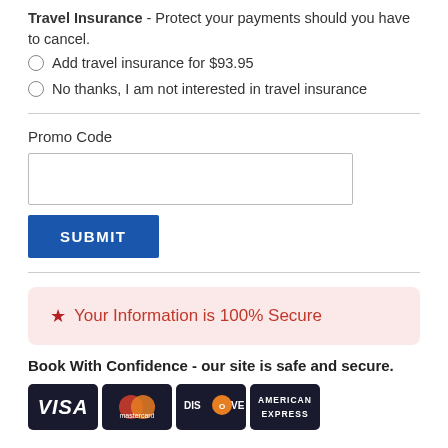Travel Insurance - Protect your payments should you have to cancel.
Add travel insurance for $93.95
No thanks, I am not interested in travel insurance
Promo Code
SUBMIT
★ Your Information is 100% Secure
Book With Confidence - our site is safe and secure.
[Figure (other): Payment card logos: VISA, Mastercard, Discover, American Express]